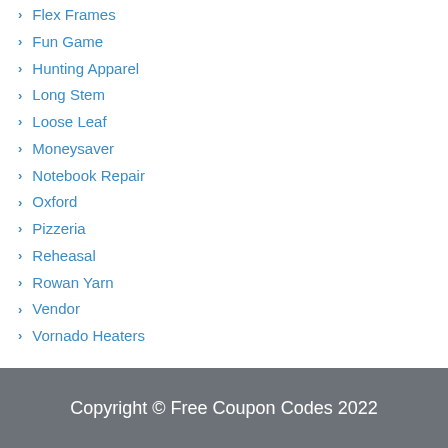Flex Frames
Fun Game
Hunting Apparel
Long Stem
Loose Leaf
Moneysaver
Notebook Repair
Oxford
Pizzeria
Reheasal
Rowan Yarn
Vendor
Vornado Heaters
Copyright © Free Coupon Codes 2022